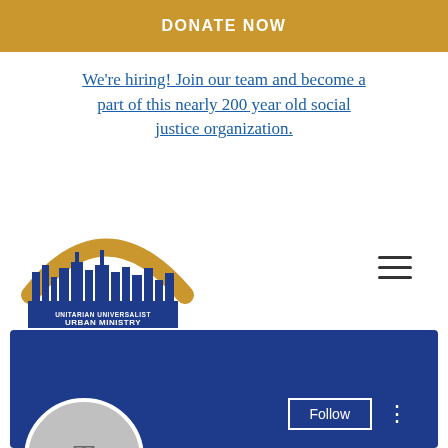DONATE NOW
We're hiring! Join our team and become a part of this nearly 200 year old social justice organization.
[Figure (logo): Unitarian Universalist Urban Ministry logo with city skyline and golden arc]
[Figure (screenshot): Social media profile card with blue header, Follow button, avatar with letter T, profile name 'The Devil's Disciple (1971) YI...', 0 Followers, 0 Following]